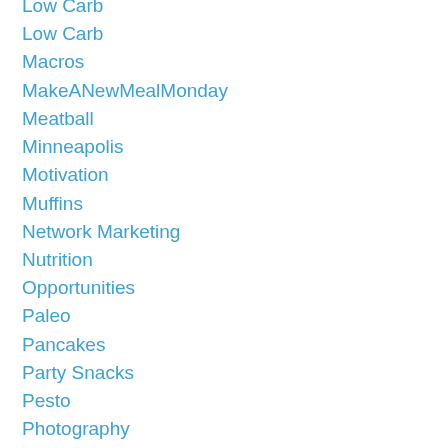Low Carb
Low Carb
Macros
MakeANewMealMonday
Meatball
Minneapolis
Motivation
Muffins
Network Marketing
Nutrition
Opportunities
Paleo
Pancakes
Party Snacks
Pesto
Photography
Pizza
Pork Tenderloin
Positive Mindset
Pregnancy
Prenatal Vitamins